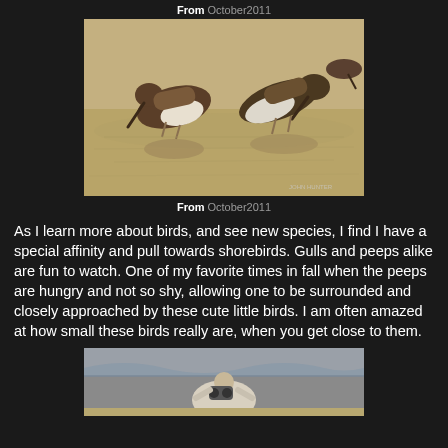From October2011
[Figure (photo): Two shorebirds (sandpipers/peeps) foraging at the water's edge on a beach, with reflections visible in the wet sand. Brownish plumage, long beaks pointing downward.]
From October2011
As I learn more about birds, and see new species, I find I have a special affinity and pull towards shorebirds. Gulls and peeps alike are fun to watch. One of my favorite times in fall when the peeps are hungry and not so shy, allowing one to be surrounded and closely approached by these cute little birds. I am often amazed at how small these birds really are, when you get close to them.
[Figure (photo): Partial view of a photographer with binoculars/camera on a beach with waves in the background, wearing light-colored clothing.]